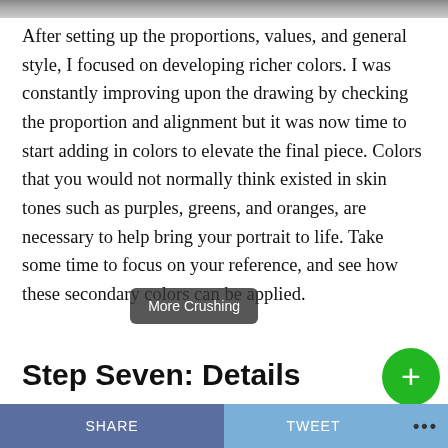[Figure (photo): Top strip showing part of an image, cropped at the top of the page]
After setting up the proportions, values, and general style, I focused on developing richer colors. I was constantly improving upon the drawing by checking the proportion and alignment but it was now time to start adding in colors to elevate the final piece. Colors that you would not normally think existed in skin tones such as purples, greens, and oranges, are necessary to help bring your portrait to life. Take some time to focus on your reference, and see how these secondary colors can be applied.
Step Seven: Details
More Crushing
SHARE   TWEET   ...